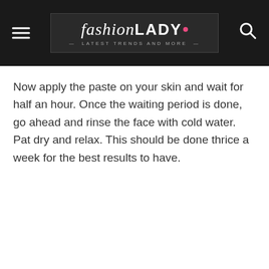fashion LADY — Latest Trends and More
Now apply the paste on your skin and wait for half an hour. Once the waiting period is done, go ahead and rinse the face with cold water. Pat dry and relax. This should be done thrice a week for the best results to have.